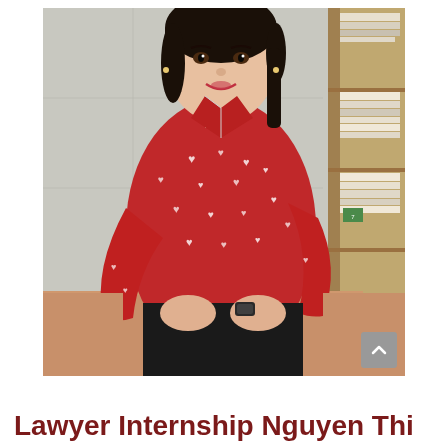[Figure (photo): A young woman with dark hair pulled back, wearing a red button-up shirt with white heart patterns, seated at a wooden desk with hands clasped, with a bookshelf of files in the background. A scroll-up button overlay is visible in the bottom-right corner of the photo.]
Lawyer Internship Nguyen Thi